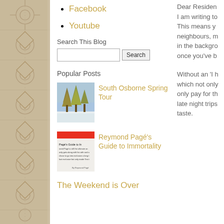Facebook
Youtube
Search This Blog
Popular Posts
[Figure (photo): Thumbnail photo of trees with snow, for South Osborne Spring Tour post]
South Osborne Spring Tour
[Figure (photo): Book cover thumbnail for Reymond Pagé's Guide to Immortality]
Reymond Pagé's Guide to Immortality
The Weekend is Over
Dear Residen I am writing to This means y neighbours, m in the backgro once you've b Without an 'I h which not only only pay for th late night trips taste.